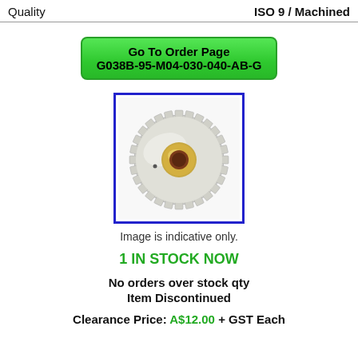Quality	ISO 9 / Machined
Go To Order Page
G038B-95-M04-030-040-AB-G
[Figure (photo): Photo of a white machined gear/spur gear with a brass/gold-coloured hub insert, shown at an angle against a white background, inside a blue border rectangle.]
Image is indicative only.
1 IN STOCK NOW
No orders over stock qty
Item Discontinued
Clearance Price: A$12.00 + GST Each